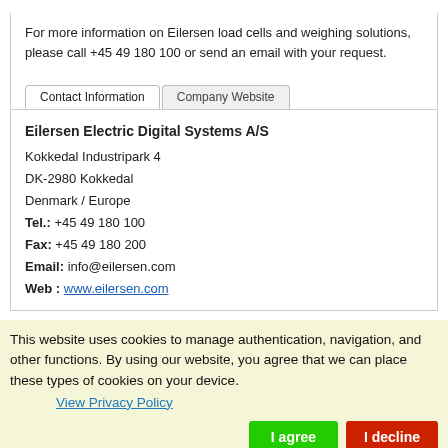For more information on Eilersen load cells and weighing solutions, please call +45 49 180 100 or send an email with your request.
[Figure (screenshot): Tab interface with 'Contact Information' (active) and 'Company Website' tabs]
Eilersen Electric Digital Systems A/S
Kokkedal Industripark 4
DK-2980 Kokkedal
Denmark / Europe
Tel.: +45 49 180 100
Fax: +45 49 180 200
Email: info@eilersen.com
Web: www.eilersen.com
This website uses cookies to manage authentication, navigation, and other functions. By using our website, you agree that we can place these types of cookies on your device.
View Privacy Policy
I agree
I decline